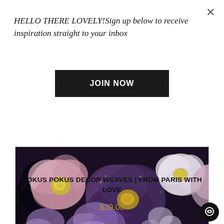HELLO THERE LOVELY!Sign up below to receive inspiration straight to your inbox
JOIN NOW
[Figure (photo): Dark floral photograph showing various flowers including pale pink blooms, purple flowers, and white blossoms against a very dark background with swirling design elements]
HOKUS POKUS DECOR WEAVES | FROM PARIS WITH LOVE
$39.00